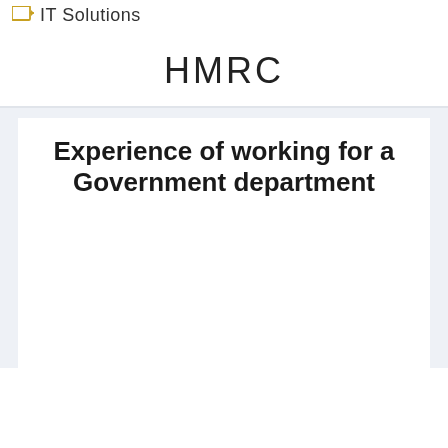IT Solutions
HMRC
Experience of working for a Government department